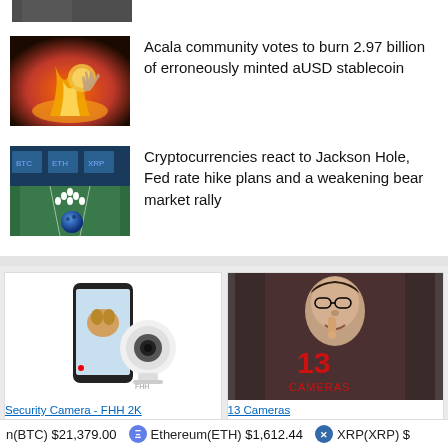[Figure (photo): Partial top image cropped at top of page]
Acala community votes to burn 2.97 billion of erroneously minted aUSD stablecoin
[Figure (photo): Fire and coins image for Acala story]
Cryptocurrencies react to Jackson Hole, Fed rate hike plans and a weakening bear market rally
[Figure (photo): Bowling alley image for crypto story]
[Figure (photo): Security camera product image - FHH 2K]
Security Camera - FHH 2K
[Figure (photo): 13 Cameras movie poster]
13 Cameras
n(BTC) $21,379.00   Ethereum(ETH) $1,612.44   XRP(XRP) $